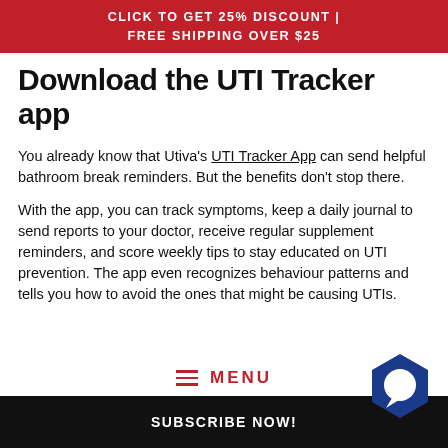CLICK TO GET 25% DISCOUNT | FREE SHIPPING OVER $25
Download the UTI Tracker app
You already know that Utiva's UTI Tracker App can send helpful bathroom break reminders. But the benefits don't stop there.
With the app, you can track symptoms, keep a daily journal to send reports to your doctor, receive regular supplement reminders, and score weekly tips to stay educated on UTI prevention. The app even recognizes behaviour patterns and tells you how to avoid the ones that might be causing UTIs.
MENU
SUBSCRIBE NOW!